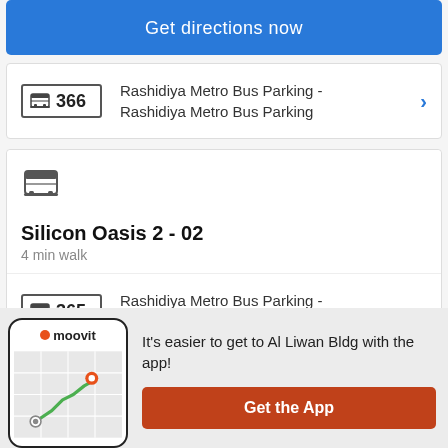Get directions now
366 Rashidiya Metro Bus Parking - Rashidiya Metro Bus Parking
Silicon Oasis 2 - 02
4 min walk
365 Rashidiya Metro Bus Parking - Rashidiya Metro Bus Parking
It's easier to get to Al Liwan Bldg with the app!
Get the App